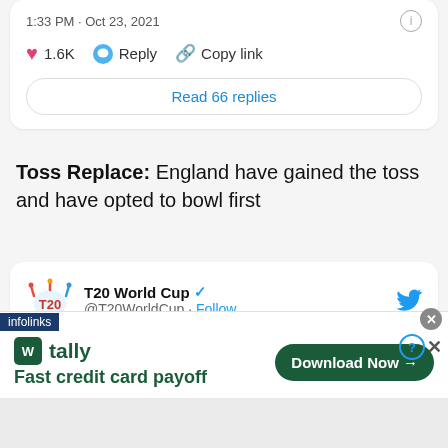1:33 PM · Oct 23, 2021
♥ 1.6K  Reply  Copy link
Read 66 replies
Toss Replace: England have gained the toss and have opted to bowl first
T20 World Cup @T20WorldCup · Follow
England have won the toss and opted to field in Dubai 🏏
infolinks
tally Fast credit card payoff
Download Now →